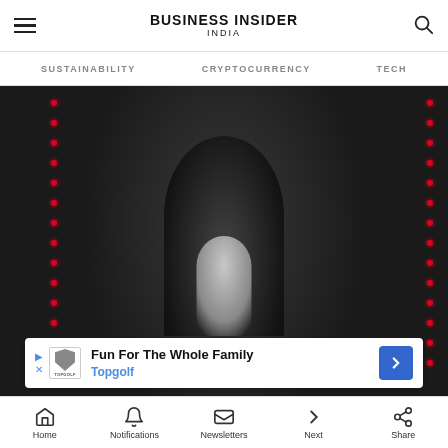BUSINESS INSIDER INDIA
SUSTAINABILITY   CRYPTOCURRENCY   TECH
[Figure (photo): A man in a black tuxedo with bow tie, standing between two vertical red LED light strips in a dark indoor venue. An advertisement overlay at the bottom reads 'Fun For The Whole Family — Topgolf'.]
Home   Notifications   Newsletters   Next   Share